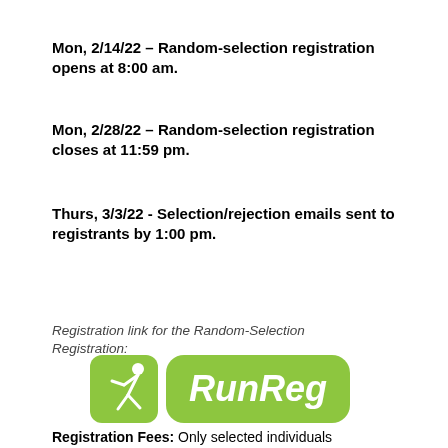Mon, 2/14/22 – Random-selection registration opens at 8:00 am.
Mon, 2/28/22 – Random-selection registration closes at 11:59 pm.
Thurs, 3/3/22 - Selection/rejection emails sent to registrants by 1:00 pm.
Registration link for the Random-Selection Registration:
[Figure (logo): RunReg logo — green rounded rectangle with running figure icon and 'RunReg' text in white]
Registration Fees: Only selected individuals